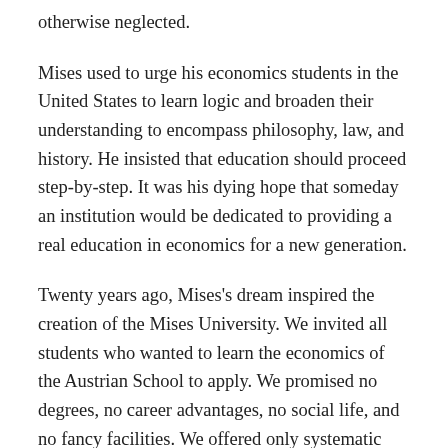otherwise neglected.
Mises used to urge his economics students in the United States to learn logic and broaden their understanding to encompass philosophy, law, and history. He insisted that education should proceed step-by-step. It was his dying hope that someday an institution would be dedicated to providing a real education in economics for a new generation.
Twenty years ago, Mises's dream inspired the creation of the Mises University. We invited all students who wanted to learn the economics of the Austrian School to apply. We promised no degrees, no career advantages, no social life, and no fancy facilities. We offered only systematic teaching that students could get no where else.
Today the Mises University stands as a world famous institution, but the program is still rooted in the same approach. Our one promise is that students will receive the best possible intellectual formation, one not available anywhere else.